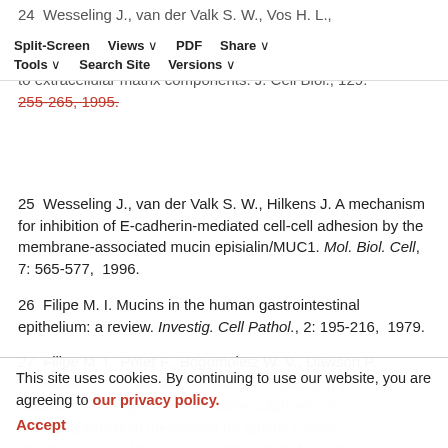24  Wesseling J., van der Valk S. W., Vos H. L., Sonnenberg A., Hilkens J. Episialin (MUC1) overexpression inhibits integrin-mediated cell adhesion to extracellular matrix components. J. Cell Biol., 129: 255-265, 1995.
25  Wesseling J., van der Valk S. W., Hilkens J. A mechanism for inhibition of E-cadherin-mediated cell-cell adhesion by the membrane-associated mucin episialin/MUC1. Mol. Biol. Cell, 7: 565-577, 1996.
26  Filipe M. I. Mucins in the human gastrointestinal epithelium: a review. Investig. Cell Pathol., 2: 195-216, 1979.
27  Filipe M. I., Potet F., Bogomoletz W. V., Dawson P. A., Fabiani B., Chauveinc P., Fenzy A., Gazzard B., Goldfain D., Zeegen R. Incomplete sulphomucin-secreting intestinal metaplasia for gastric cancer. Preliminary data from a prospective study from three centres. Gut, 26: 1319-1326, 1985.
This site uses cookies. By continuing to use our website, you are agreeing to our privacy policy. Accept